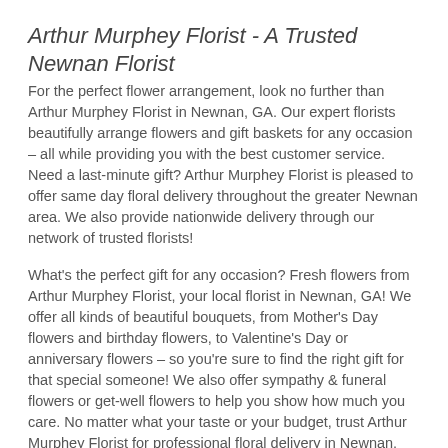Arthur Murphey Florist - A Trusted Newnan Florist
For the perfect flower arrangement, look no further than Arthur Murphey Florist in Newnan, GA. Our expert florists beautifully arrange flowers and gift baskets for any occasion – all while providing you with the best customer service. Need a last-minute gift? Arthur Murphey Florist is pleased to offer same day floral delivery throughout the greater Newnan area. We also provide nationwide delivery through our network of trusted florists!
What's the perfect gift for any occasion? Fresh flowers from Arthur Murphey Florist, your local florist in Newnan, GA! We offer all kinds of beautiful bouquets, from Mother's Day flowers and birthday flowers, to Valentine's Day or anniversary flowers – so you're sure to find the right gift for that special someone! We also offer sympathy & funeral flowers or get-well flowers to help you show how much you care. No matter what your taste or your budget, trust Arthur Murphey Florist for professional floral delivery in Newnan.
You can rely on Arthur Murphey Florist for the best floral gifts in Newnan! Browse our website and shop our collection of fresh flower arrangements and customized gift baskets. Choose from a variety of options! When you